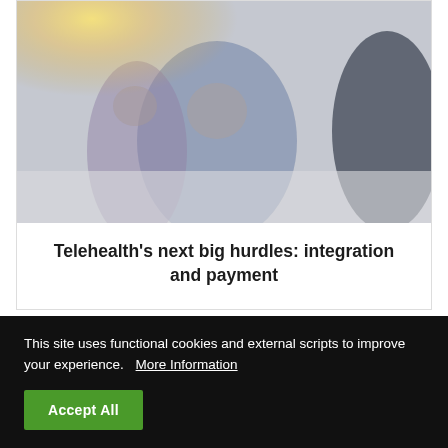[Figure (photo): Blurred photo of medical professionals in scrubs/clinical setting, with warm yellow-orange light in upper left corner]
Telehealth's next big hurdles: integration and payment
[Figure (photo): Partially visible photo with pink/skin-toned background, cropped at bottom of page]
This site uses functional cookies and external scripts to improve your experience. More Information
Accept All